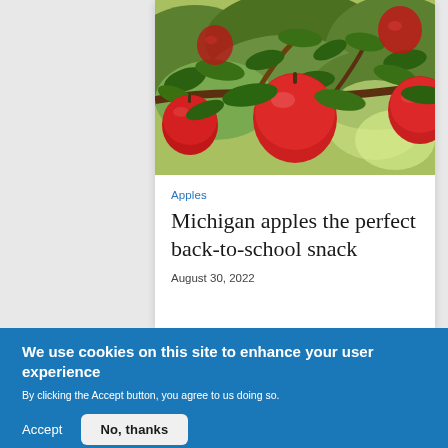[Figure (photo): Close-up photo of red apples growing on a tree branch with green leaves, outdoors in natural light]
Apples
Michigan apples the perfect back-to-school snack
August 30, 2022
We use cookies on this site to enhance your user experience
By clicking the Accept button, you agree to us doing so.
Accept
No, thanks